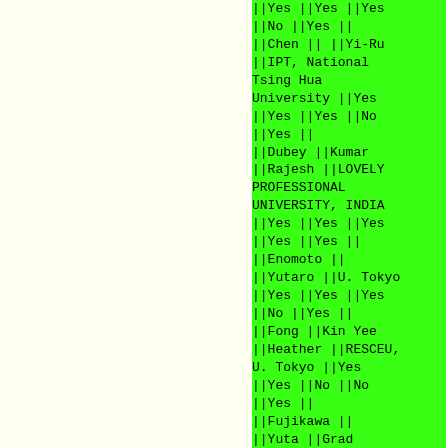| ||Yes | ||Yes | ||Yes |
| ||No | ||Yes | || |
| ||Chen | || | ||Yi-Ru |
| ||IPT, National Tsing Hua University | ||Yes |
| ||Yes | ||Yes | ||No |
| ||Yes | || |
| ||Dubey | ||Kumar |
| ||Rajesh | ||LOVELY PROFESSIONAL UNIVERSITY, INDIA |
| ||Yes | ||Yes | ||Yes |
| ||Yes | ||Yes | || |
| ||Enomoto | || |
| ||Yutaro | ||U. Tokyo |
| ||Yes | ||Yes | ||Yes |
| ||No | ||Yes | || |
| ||Fong | ||Kin Yee |
| ||Heather | ||RESCEU, U. Tokyo | ||Yes |
| ||Yes | ||No | ||No |
| ||Yes | || |
| ||Fujikawa | || |
| ||Yuta | ||Grad school of Sci. & |